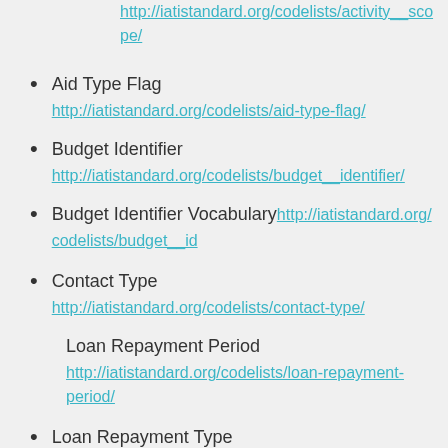http://iatistandard.org/codelists/activity__scope/
Aid Type Flag
http://iatistandard.org/codelists/aid-type-flag/
Budget Identifier
http://iatistandard.org/codelists/budget__identifier/
Budget Identifier Vocabulary
http://iatistandard.org/codelists/budget__id
Contact Type
http://iatistandard.org/codelists/contact-type/
Loan Repayment Period
http://iatistandard.org/codelists/loan-repayment-period/
Loan Repayment Type
http://iatistandard.org/codelists/loan-repayment-type/